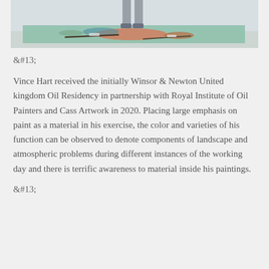[Figure (photo): A person standing behind a large glass or canvas surface on the floor, covered in colorful paint with brushes and paint tubes scattered around, in a studio setting.]
&#13;
Vince Hart received the initially Winsor & Newton United kingdom Oil Residency in partnership with Royal Institute of Oil Painters and Cass Artwork in 2020. Placing large emphasis on paint as a material in his exercise, the color and varieties of his function can be observed to denote components of landscape and atmospheric problems during different instances of the working day and there is terrific awareness to material inside his paintings.
&#13;